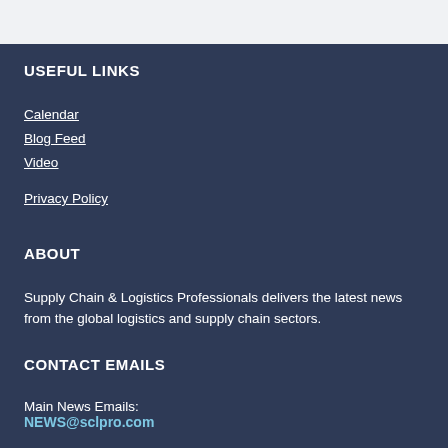USEFUL LINKS
Calendar
Blog Feed
Video
Privacy Policy
ABOUT
Supply Chain & Logistics Professionals delivers the latest news from the global logistics and supply chain sectors.
CONTACT EMAILS
Main News Emails:
NEWS@sclpro.com